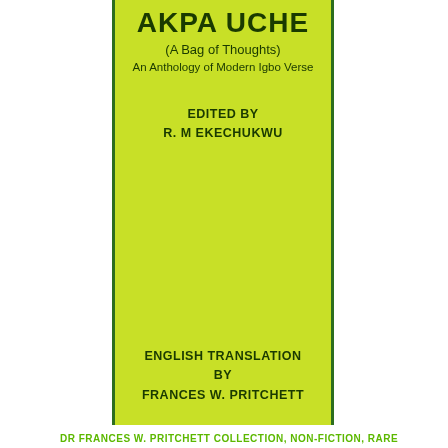[Figure (illustration): Book cover with yellow-green background and dark green border lines. Title 'AKPA UCHE' in large bold text, subtitle '(A Bag of Thoughts)', line 'An Anthology of Modern Igbo Verse', edited by R. M EKECHUKWU, English translation by FRANCES W. PRITCHETT.]
DR FRANCES W. PRITCHETT COLLECTION, NON-FICTION, RARE LITERATURE AND MANUSCRIPTS
Akpa Uche: An Anthology of Modern Igbo Verse
₦0.0
Post Opened
READ MORE